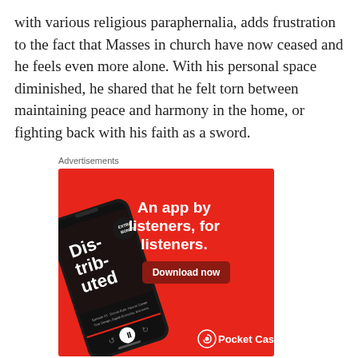with various religious paraphernalia, adds frustration to the fact that Masses in church have now ceased and he feels even more alone. With his personal space diminished, he shared that he felt torn between maintaining peace and harmony in the home, or fighting back with his faith as a sword.
Advertisements
[Figure (illustration): Pocket Casts advertisement on red background featuring a smartphone displaying a podcast called 'Distributed', with text 'An app by listeners, for listeners.' and a 'Download now' button and Pocket Casts logo at the bottom right.]